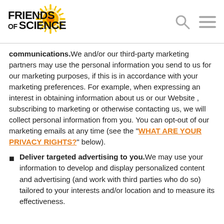[Figure (logo): Friends of Science logo with sun graphic and bold text]
communications. We and/or our third-party marketing partners may use the personal information you send to us for our marketing purposes, if this is in accordance with your marketing preferences. For example, when expressing an interest in obtaining information about us or our Website , subscribing to marketing or otherwise contacting us, we will collect personal information from you. You can opt-out of our marketing emails at any time (see the "WHAT ARE YOUR PRIVACY RIGHTS?" below).
Deliver targeted advertising to you. We may use your information to develop and display personalized content and advertising (and work with third parties who do so) tailored to your interests and/or location and to measure its effectiveness.